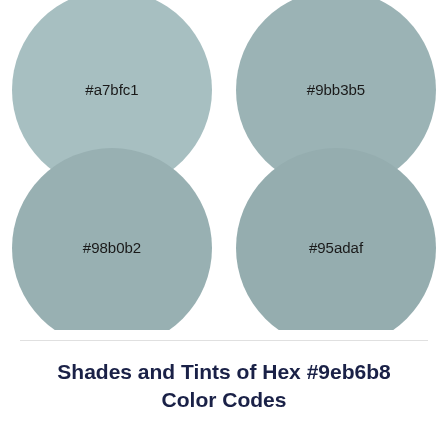[Figure (infographic): Four colored circles arranged in a 2x2 grid, each displaying a hex color code. Top-left: #a7bfc1 (light teal-gray), Top-right: #9bb3b5 (muted teal-gray), Bottom-left: #98b0b2 (darker teal-gray), Bottom-right: #95adaf (grayish teal).]
Shades and Tints of Hex #9eb6b8 Color Codes